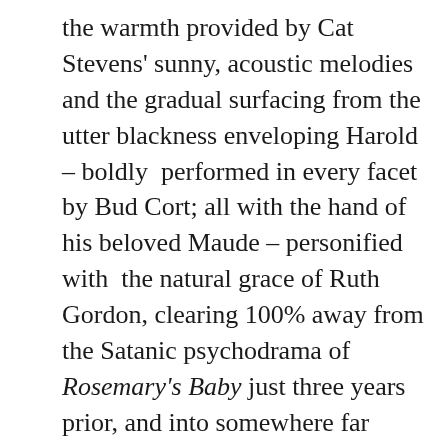the warmth provided by Cat Stevens' sunny, acoustic melodies and the gradual surfacing from the utter blackness enveloping Harold – boldly  performed in every facet by Bud Cort; all with the hand of his beloved Maude – personified with  the natural grace of Ruth Gordon, clearing 100% away from the Satanic psychodrama of  Rosemary's Baby just three years prior, and into somewhere far more empathetic. Ashby's film is  one that has absorbed itself in me over time. I knew it was love at first sight, but having my  viewings of it come at a time where I was beginning to understand my own shortcomings in  wanting to live, and how to fix that, cemented a place for it inside my own self. With heavy  inspiration